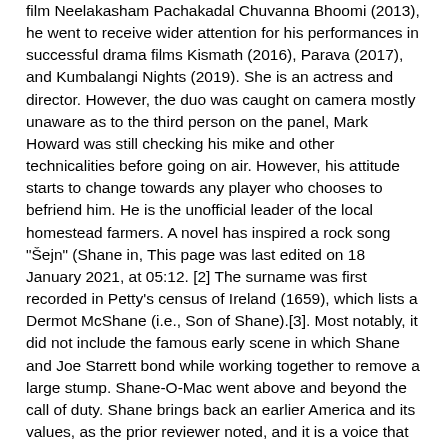film Neelakasham Pachakadal Chuvanna Bhoomi (2013), he went to receive wider attention for his performances in successful drama films Kismath (2016), Parava (2017), and Kumbalangi Nights (2019). She is an actress and director. However, the duo was caught on camera mostly unaware as to the third person on the panel, Mark Howard was still checking his mike and other technicalities before going on air. However, his attitude starts to change towards any player who chooses to befriend him. He is the unofficial leader of the local homestead farmers. A novel has inspired a rock song "Šejn" (Shane in, This page was last edited on 18 January 2021, at 05:12. [2] The surname was first recorded in Petty's census of Ireland (1659), which lists a Dermot McShane (i.e., Son of Shane).[3]. Most notably, it did not include the famous early scene in which Shane and Joe Starrett bond while working together to remove a large stump. Shane-O-Mac went above and beyond the call of duty. Shane brings back an earlier America and its values, as the prior reviewer noted, and it is a voice that still has something to teach a different, more cynical time. While a nervous Natarajan, who made his Test debut at the Gabba and also played his first games in Blue during the same tour, Shane Warne hinted at severe foul play by the 29-year-old speedster. Shane is mainly a masculine given name. Oscars Best Picture Winners Best Picture Winners Golden Globes Emmys STARmeter Awards San Diego Comic-Con New York Comic-Con Sundance Film Festival Toronto Int'l Film Festival Awards Central Festival Central All ... Back then, his